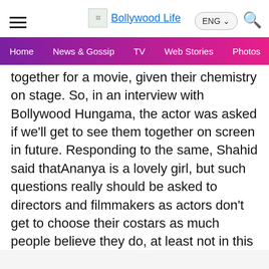Bollywood Life
together for a movie, given their chemistry on stage. So, in an interview with Bollywood Hungama, the actor was asked if we'll get to see them together on screen in future. Responding to the same, Shahid said thatAnanya is a lovely girl, but such questions really should be asked to directors and filmmakers as actors don't get to choose their costars as much people believe they do, at least not in this generation. Also Read - Nikki Tamboli, Mouni Roy, Anita Hassanandani and